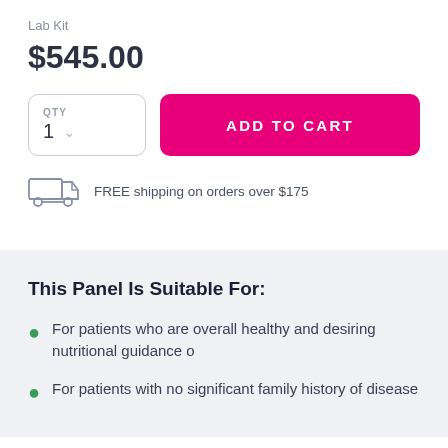Lab Kit
$545.00
QTY 1 | ADD TO CART
FREE shipping on orders over $175
This Panel Is Suitable For:
For patients who are overall healthy and desiring nutritional guidance o
For patients with no significant family history of disease